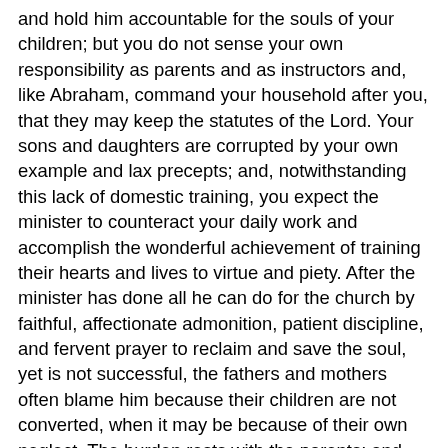and hold him accountable for the souls of your children; but you do not sense your own responsibility as parents and as instructors and, like Abraham, command your household after you, that they may keep the statutes of the Lord. Your sons and daughters are corrupted by your own example and lax precepts; and, notwithstanding this lack of domestic training, you expect the minister to counteract your daily work and accomplish the wonderful achievement of training their hearts and lives to virtue and piety. After the minister has done all he can do for the church by faithful, affectionate admonition, patient discipline, and fervent prayer to reclaim and save the soul, yet is not successful, the fathers and mothers often blame him because their children are not converted, when it may be because of their own neglect. The burden rests with the parents; and will they take up the work that God has entrusted to them, and with fidelity perform it? Will they move onward and upward, working in a humble, patient, persevering way to reach the exalted standard themselves and to bring their children up with them? No wonder our churches are feeble and do not have that deep, earnest piety in their borders that they should have. Our present habits and customs, which dishonor God and bring the sacred and heavenly down to